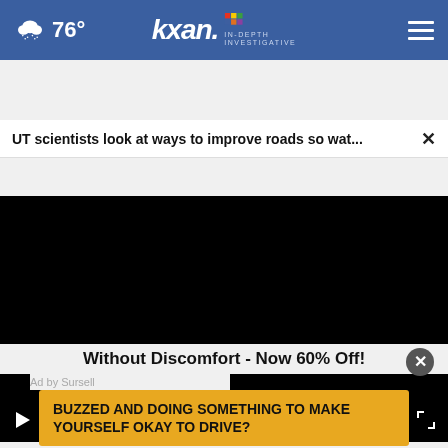[Figure (screenshot): KXAN news website navigation bar with weather icon showing cloud/snow at 76°, KXAN NBC In-Depth Investigative logo, and hamburger menu]
UT scientists look at ways to improve roads so wat...
[Figure (screenshot): Black video player area with play button, mute button, and fullscreen button controls at bottom]
Without Discomfort - Now 60% Off!
Ad by Sursell
BUZZED AND DOING SOMETHING TO MAKE YOURSELF OKAY TO DRIVE?